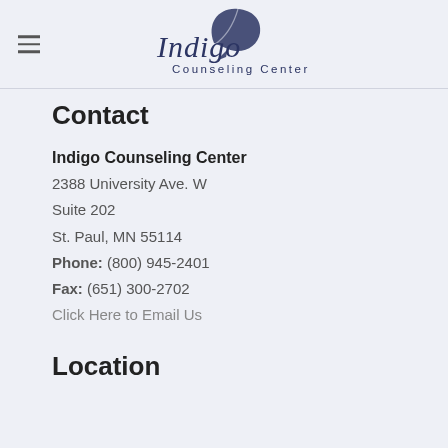Indigo Counseling Center — logo and navigation
Contact
Indigo Counseling Center
2388 University Ave. W
Suite 202
St. Paul, MN 55114
Phone: (800) 945-2401
Fax: (651) 300-2702
Click Here to Email Us
Location